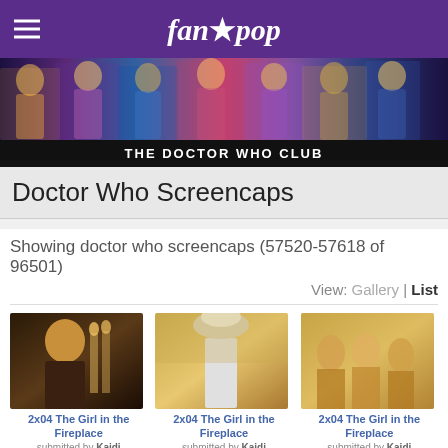fanpop
[Figure (photo): Doctor Who fan banner with cast photos]
THE DOCTOR WHO CLUB
Doctor Who Screencaps
Showing doctor who screencaps (57520-57618 of 96501)
View: Gallery | List
[Figure (photo): 2x04 The Girl in the Fireplace screencap - submitted by Kaidi]
[Figure (photo): 2x04 The Girl in the Fireplace screencap - submitted by Kaidi]
[Figure (photo): 2x04 The Girl in the Fireplace screencap - submitted by Kaidi]
[Figure (photo): 2x04 The Girl in the Fireplace screencap - submitted by Kaidi]
[Figure (photo): 2x04 The Girl in the Fireplace screencap - submitted by Kaidi]
[Figure (photo): 2x04 The Girl in the Fireplace screencap - submitted by Kaidi]